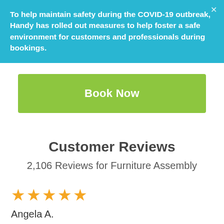To help maintain safety during the COVID-19 outbreak, Handy has rolled out measures to help foster a safe environment for customers and professionals during bookings.
[Figure (other): Green 'Book Now' button]
Customer Reviews
2,106 Reviews for Furniture Assembly
[Figure (other): Five yellow star rating icons]
Angela A.